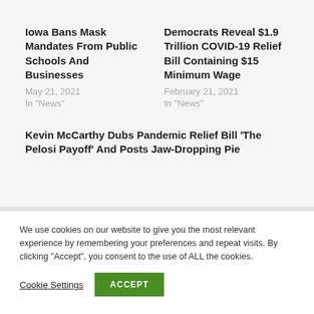Iowa Bans Mask Mandates From Public Schools And Businesses
May 21, 2021
In "News"
Democrats Reveal $1.9 Trillion COVID-19 Relief Bill Containing $15 Minimum Wage
February 21, 2021
In "News"
Kevin McCarthy Dubs Pandemic Relief Bill 'The Pelosi Payoff' And Posts Jaw-Dropping Pie
We use cookies on our website to give you the most relevant experience by remembering your preferences and repeat visits. By clicking “Accept”, you consent to the use of ALL the cookies.
Cookie Settings
ACCEPT